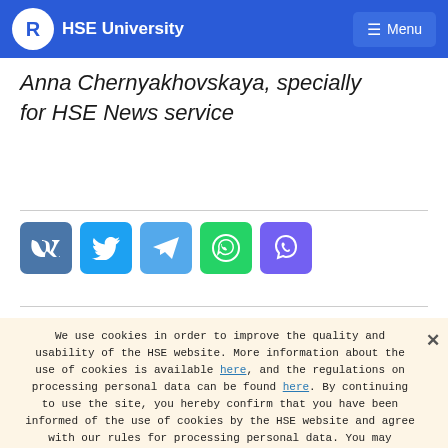HSE University | Menu
Anna Chernyakhovskaya, specially for HSE News service
[Figure (other): Social media share buttons: VK, Twitter, Telegram, WhatsApp, Viber]
We use cookies in order to improve the quality and usability of the HSE website. More information about the use of cookies is available here, and the regulations on processing personal data can be found here. By continuing to use the site, you hereby confirm that you have been informed of the use of cookies by the HSE website and agree with our rules for processing personal data. You may disable cookies in your browser settings.